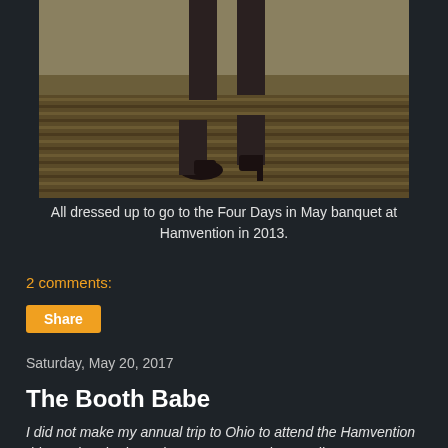[Figure (photo): Close-up photo of legs in black stockings and black high heel shoes standing on a patterned carpet in what appears to be a hotel room or hallway, shot from mid-shin down.]
All dressed up to go to the Four Days in May banquet at Hamvention in 2013.
2 comments:
Share
Saturday, May 20, 2017
The Booth Babe
I did not make my annual trip to Ohio to attend the Hamvention this weekend. Since I have no new stories to tell